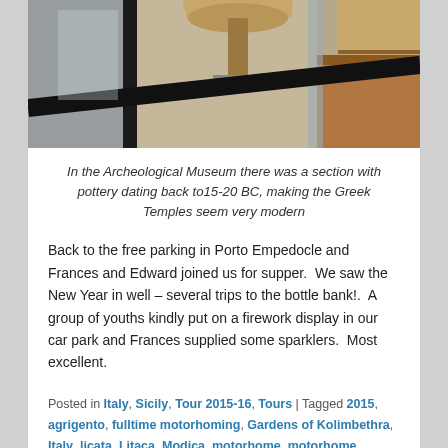[Figure (photo): Close-up photo of a pottery artifact in a museum display case with glass and wooden shelving visible in the background]
In the Archeological Museum there was a section with pottery dating back to15-20 BC, making the Greek Temples seem very modern
Back to the free parking in Porto Empedocle and Frances and Edward joined us for supper.  We saw the New Year in well – several trips to the bottle bank!.  A group of youths kindly put on a firework display in our car park and Frances supplied some sparklers.  Most excellent.
Posted in Italy, Sicily, Tour 2015-16, Tours | Tagged 2015, agrigento, fulltime motorhoming, Gardens of Kolimbethra, Italy, licata, Litaca, Modica, motorhome, motorhome fulltime, New Year, porto empedocle, punta bracetto,